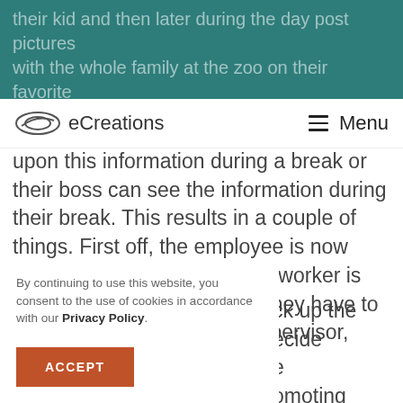their kid and then later during the day post pictures with the whole family at the zoo on their favorite
Social icons: Facebook, LinkedIn, YouTube, Yelp, Email
eCreations — Menu
upon this information during a break or their boss can see the information during their break. This results in a couple of things. First off, the employee is now discredited. Secondly the co-worker is put in a bad position where they have to decide whether to tell the supervisor, confront the employee, or
ck up the ecide e omoting ost your
By continuing to use this website, you consent to the use of cookies in accordance with our Privacy Policy.
ACCEPT